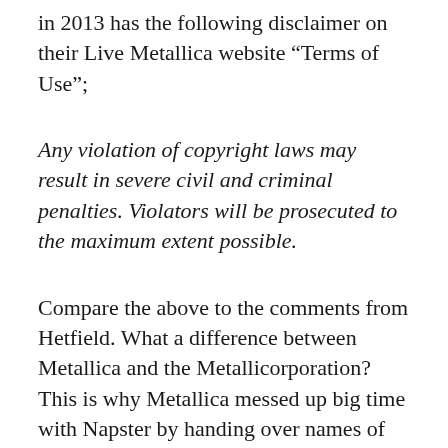in 2013 has the following disclaimer on their Live Metallica website “Terms of Use”;
Any violation of copyright laws may result in severe civil and criminal penalties. Violators will be prosecuted to the maximum extent possible.
Compare the above to the comments from Hetfield. What a difference between Metallica and the Metallicorporation? This is why Metallica messed up big time with Napster by handing over names of fans at the Senate Hearings.